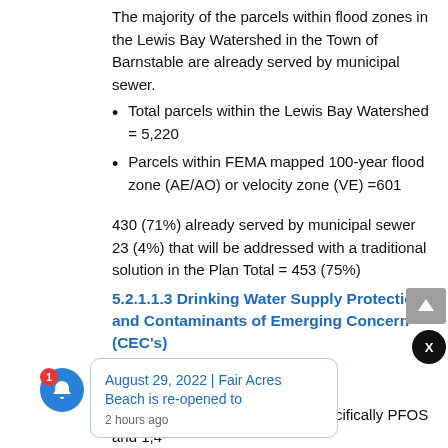The majority of the parcels within flood zones in the Lewis Bay Watershed in the Town of Barnstable are already served by municipal sewer.
Total parcels within the Lewis Bay Watershed = 5,220
Parcels within FEMA mapped 100-year flood zone (AE/AO) or velocity zone (VE) =601
430 (71%) already served by municipal sewer
23 (4%) that will be addressed with a traditional solution in the Plan Total = 453 (75%)
5.2.1.1.3 Drinking Water Supply Protection and Contaminants of Emerging Concern (CEC's)
The Hyannis Water Supply is the primary source of drinking water to the ... y Watershed significant issues with CEC's, specifically PFOS and 1,4-